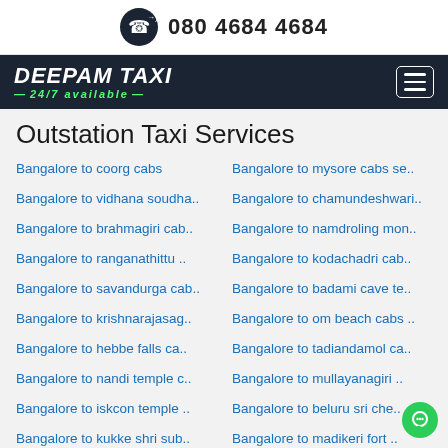080 4684 4684
[Figure (logo): Deepam Taxi logo with tagline '24/7 available' on dark background with hamburger menu icon]
Outstation Taxi Services
Bangalore to coorg cabs
Bangalore to mysore cabs se..
Bangalore to vidhana soudha..
Bangalore to chamundeshwari..
Bangalore to brahmagiri cab..
Bangalore to namdroling mon..
Bangalore to ranganathittu ..
Bangalore to kodachadri cab..
Bangalore to savandurga cab..
Bangalore to badami cave te..
Bangalore to krishnarajasag..
Bangalore to om beach cabs ..
Bangalore to hebbe falls ca..
Bangalore to tadiandamol ca..
Bangalore to nandi temple c..
Bangalore to mullayanagiri ..
Bangalore to iskcon temple ..
Bangalore to beluru sri che..
Bangalore to kukke shri sub..
Bangalore to madikeri fort ..
Bangalore to mahabaleshwara..
Bangalore to pushpagiri cab..